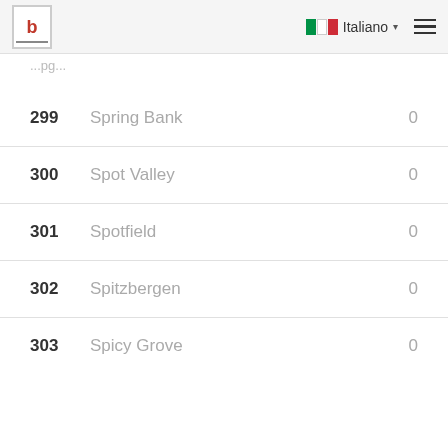Italiano
| # | Name | Value |
| --- | --- | --- |
| 299 | Spring Bank | 0 |
| 300 | Spot Valley | 0 |
| 301 | Spotfield | 0 |
| 302 | Spitzbergen | 0 |
| 303 | Spicy Grove | 0 |